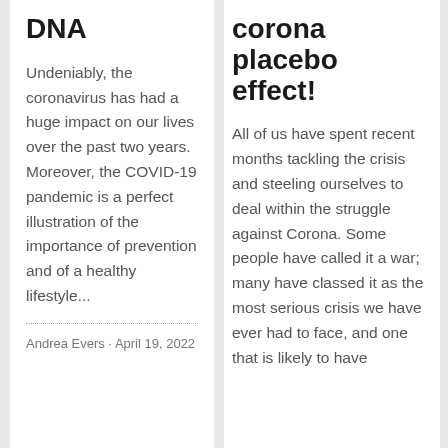DNA
Undeniably, the coronavirus has had a huge impact on our lives over the past two years. Moreover, the COVID-19 pandemic is a perfect illustration of the importance of prevention and of a healthy lifestyle...
Andrea Evers · April 19, 2022
corona placebo effect!
All of us have spent recent months tackling the crisis and steeling ourselves to deal within the struggle against Corona. Some people have called it a war; many have classed it as the most serious crisis we have ever had to face, and one that is likely to have